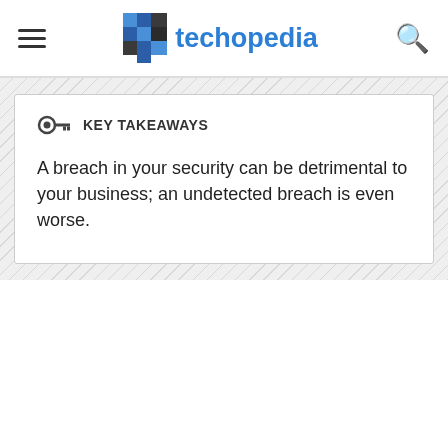techopedia
KEY TAKEAWAYS
A breach in your security can be detrimental to your business; an undetected breach is even worse.